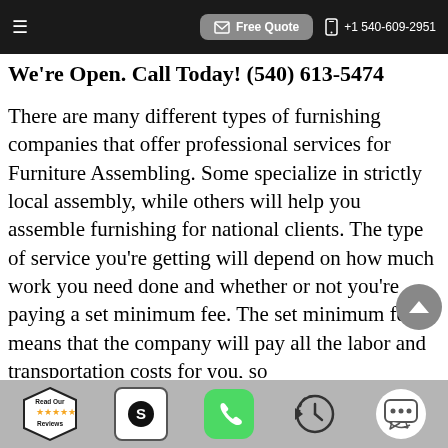Free Quote  +1 540-609-2951
We’re Open. Call Today! (540) 613-5474
There are many different types of furnishing companies that offer professional services for Furniture Assembling. Some specialize in strictly local assembly, while others will help you assemble furnishing for national clients. The type of service you’re getting will depend on how much work you need done and whether or not you’re paying a set minimum fee. The set minimum fee means that the company will pay all the labor and transportation costs for you, so